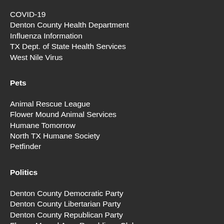COVID-19
Denton County Health Department
Influenza Information
TX Dept. of State Health Services
West Nile Virus
Pets
Animal Rescue League
Flower Mound Animal Services
Humane Tomorrow
North TX Humane Society
Petfinder
Politics
Denton County Democratic Party
Denton County Libertarian Party
Denton County Republican Party
Flower Mound Area Republican Club